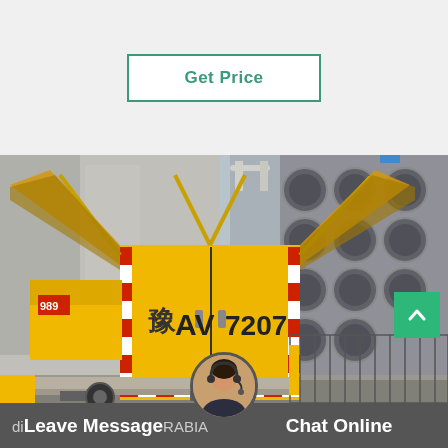Get Price
[Figure (photo): Yellow utility/service truck with open side panels parked next to industrial equipment with multiple large fans/filters. The truck has Chinese license plate markings 'AV 7207' and Chinese character on the back doors. The vehicle has distinctive yellow and red striped safety markings.]
Leave Message
Chat Online